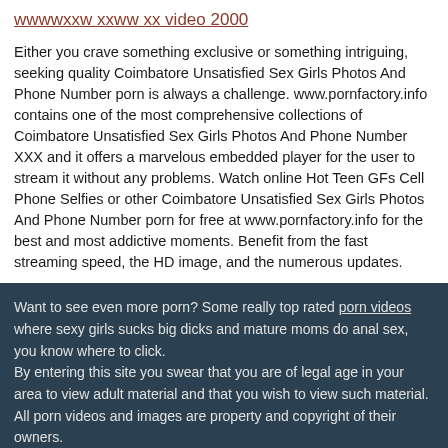wwwwxxw xxww xx video 2000
Either you crave something exclusive or something intriguing, seeking quality Coimbatore Unsatisfied Sex Girls Photos And Phone Number porn is always a challenge. www.pornfactory.info contains one of the most comprehensive collections of Coimbatore Unsatisfied Sex Girls Photos And Phone Number XXX and it offers a marvelous embedded player for the user to stream it without any problems. Watch online Hot Teen GFs Cell Phone Selfies or other Coimbatore Unsatisfied Sex Girls Photos And Phone Number porn for free at www.pornfactory.info for the best and most addictive moments. Benefit from the fast streaming speed, the HD image, and the numerous updates.
Want to see even more porn? Some really top rated porn videos where sexy girls sucks big dicks and mature moms do anal sex, you know where to click.
By entering this site you swear that you are of legal age in your area to view adult material and that you wish to view such material.
All porn videos and images are property and copyright of their owners.
All models appearing on this website are 18 years or older.
Copyright © 2015-2022 www.pornfactory.info